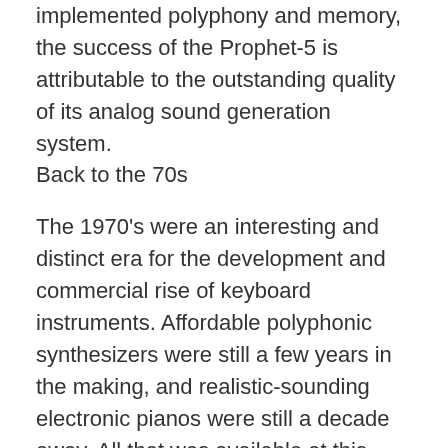built, up until 1981. In addition to its digitally implemented polyphony and memory, the success of the Prophet-5 is attributable to the outstanding quality of its analog sound generation system. Back to the 70s
The 1970's were an interesting and distinct era for the development and commercial rise of keyboard instruments. Affordable polyphonic synthesizers were still a few years in the making, and realistic-sounding electronic pianos were still a decade away. All that was available at this time was a mixture of Electronic Pianos and 'String Synthesizers,' which are essentially hyped-up electric organs; some still-useful electro-acoustic instruments; and a wide range of experimental synthesizers, many of which were created by small manufacturers that didn't stay around very long. Six years later, this was completely transformed by advanced Japanese